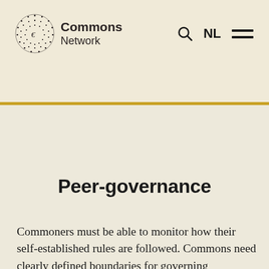[Figure (logo): Commons Network logo with circular dotted globe icon and text 'Commons Network']
NL
Peer-governance
Commoners must be able to monitor how their self-established rules are followed. Commons need clearly defined boundaries for governing